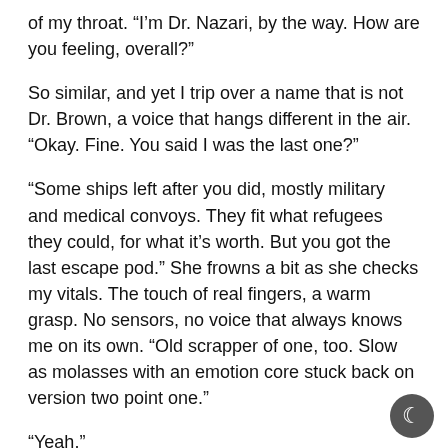of my throat. “I’m Dr. Nazari, by the way. How are you feeling, overall?”
So similar, and yet I trip over a name that is not Dr. Brown, a voice that hangs different in the air. “Okay. Fine. You said I was the last one?”
“Some ships left after you did, mostly military and medical convoys. They fit what refugees they could, for what it’s worth. But you got the last escape pod.” She frowns a bit as she checks my vitals. The touch of real fingers, a warm grasp. No sensors, no voice that always knows me on its own. “Old scrapper of one, too. Slow as molasses with an emotion core stuck back on version two point one.”
“Yeah.”